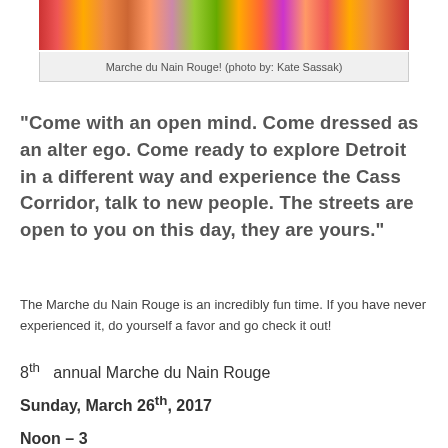[Figure (photo): Colorful festive headdress/costume photo from Marche du Nain Rouge]
Marche du Nain Rouge! (photo by: Kate Sassak)
“Come with an open mind. Come dressed as an alter ego. Come ready to explore Detroit in a different way and experience the Cass Corridor, talk to new people. The streets are open to you on this day, they are yours.”
The Marche du Nain Rouge is an incredibly fun time. If you have never experienced it, do yourself a favor and go check it out!
8th annual Marche du Nain Rouge
Sunday, March 26th, 2017
Noon – 3